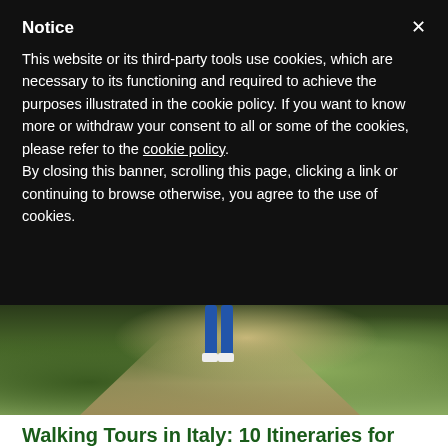Notice
This website or its third-party tools use cookies, which are necessary to its functioning and required to achieve the purposes illustrated in the cookie policy. If you want to know more or withdraw your consent to all or some of the cookies, please refer to the cookie policy.
By closing this banner, scrolling this page, clicking a link or continuing to browse otherwise, you agree to the use of cookies.
[Figure (photo): A person walking on a dirt trail path through green vegetation, seen from behind, wearing blue jeans and white shoes]
Walking Tours in Italy: 10 Itineraries for Eco-Travelers
After this period of quarantine, we have not excuses anymore. Everything now is like a new experience, and we don't want to was